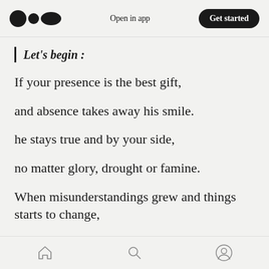Open in app  Get started
Let's begin:
If your presence is the best gift,
and absence takes away his smile.
he stays true and by your side,
no matter glory, drought or famine.
When misunderstandings grew and things starts to change,
leaving ego and arrogance, trying to make
Home  Search  Profile